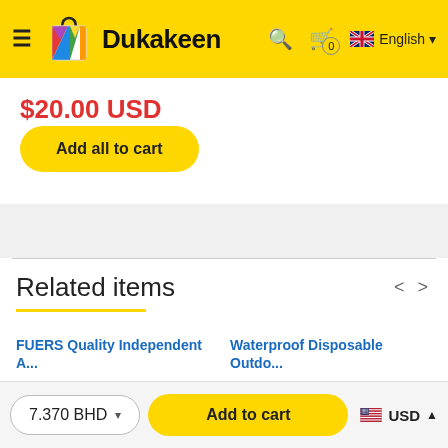[Figure (logo): Dukakeen e-commerce website header with yellow background, hamburger menu, colorful shopping bag logo, Dukakeen text, search icon, cart icon, UK flag and English language selector]
$20.00 USD
Add all to cart
Related items
FUERS Quality Independent A...
Waterproof Disposable Outdo...
7.370 BHD
Add to cart
USD